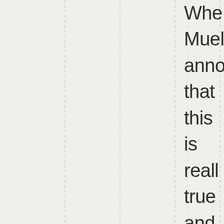When Mueller announced that this is really true and explained his strategy I am dubious and think the